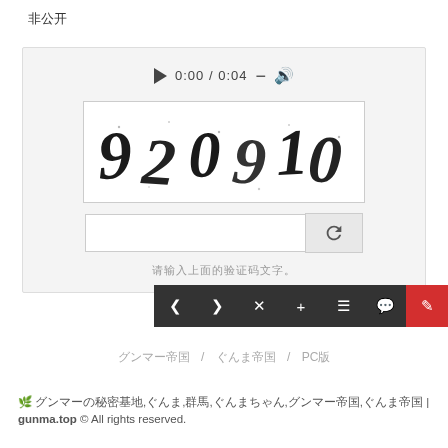[Figure (screenshot): Checkbox UI element with Japanese text label]
[Figure (screenshot): CAPTCHA verification widget with audio player (0:00/0:04), distorted number image '920910', text input field, refresh button, and hint text in Japanese]
[Figure (screenshot): Navigation toolbar with dark background buttons: back, forward, close, add, menu, comment, and red edit/pencil button]
グンマー帝国 / ぐんま帝国 / PC版
グンマーの秘密基地,ぐんま,群馬,ぐんまちゃん,グンマー帝国,ぐんま帝国 | gunma.top © All rights reserved.